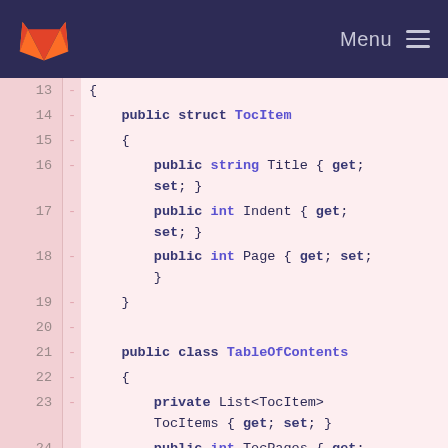GitLab logo | Menu
[Figure (screenshot): Code diff view showing C# class definitions for TocItem struct and TableOfContents class, lines 13-26, with pink background and dark navy text, monospace font.]